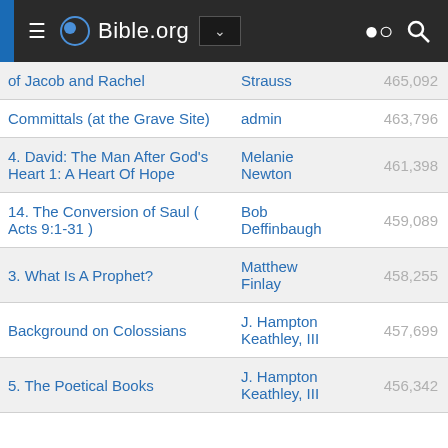Bible.org
| Title | Author | Views |
| --- | --- | --- |
| of Jacob and Rachel | Strauss | 465,092 |
| Committals (at the Grave Site) | admin | 463,796 |
| 4. David: The Man After God's Heart 1: A Heart Of Hope | Melanie Newton | 461,398 |
| 14. The Conversion of Saul ( Acts 9:1-31 ) | Bob Deffinbaugh | 459,089 |
| 3. What Is A Prophet? | Matthew Finlay | 458,255 |
| Background on Colossians | J. Hampton Keathley, III | 457,699 |
| 5. The Poetical Books | J. Hampton Keathley, III | 456,342 |